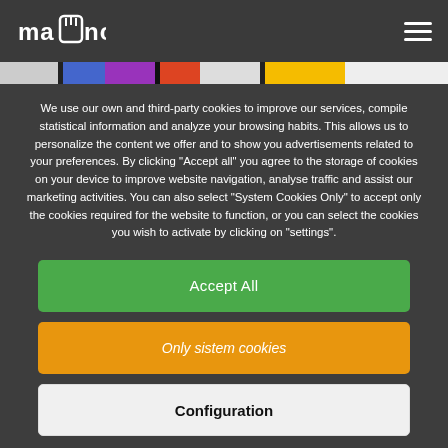mano logo and hamburger menu
[Figure (screenshot): Colorful image strip showing partial thumbnails with various colors]
We use our own and third-party cookies to improve our services, compile statistical information and analyze your browsing habits. This allows us to personalize the content we offer and to show you advertisements related to your preferences. By clicking "Accept all" you agree to the storage of cookies on your device to improve website navigation, analyse traffic and assist our marketing activities. You can also select "System Cookies Only" to accept only the cookies required for the website to function, or you can select the cookies you wish to activate by clicking on "settings".
Accept All
Only sistem cookies
Configuration